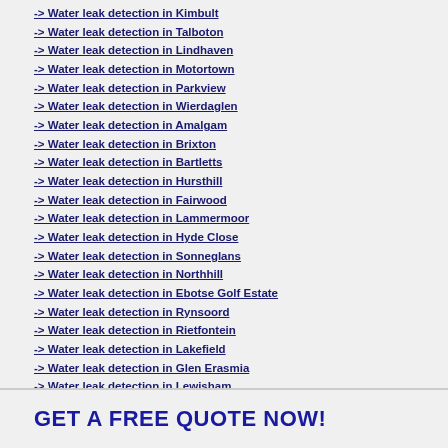-> Water leak detection in Kimbult
-> Water leak detection in Talboton
-> Water leak detection in Lindhaven
-> Water leak detection in Motortown
-> Water leak detection in Parkview
-> Water leak detection in Wierdaglen
-> Water leak detection in Amalgam
-> Water leak detection in Brixton
-> Water leak detection in Bartletts
-> Water leak detection in Hursthill
-> Water leak detection in Fairwood
-> Water leak detection in Lammermoor
-> Water leak detection in Hyde Close
-> Water leak detection in Sonneglans
-> Water leak detection in Northhill
-> Water leak detection in Ebotse Golf Estate
-> Water leak detection in Rynsoord
-> Water leak detection in Rietfontein
-> Water leak detection in Lakefield
-> Water leak detection in Glen Erasmia
-> Water leak detection in Lewisham
GET A FREE QUOTE NOW!